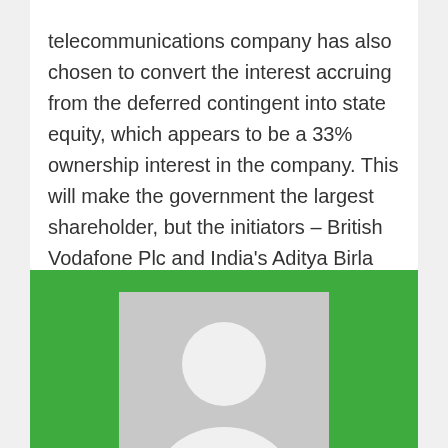telecommunications company has also chosen to convert the interest accruing from the deferred contingent into state equity, which appears to be a 33% ownership interest in the company. This will make the government the largest shareholder, but the initiators – British Vodafone Plc and India's Aditya Birla Group – will together own 50% of the company.
[Figure (photo): Profile card with a generic user avatar silhouette on a green background, with the name 'William' displayed below the avatar in white text.]